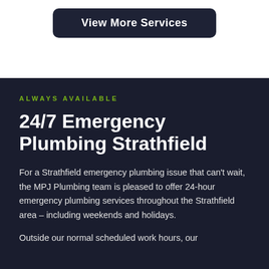[Figure (other): Dark rounded button labeled 'View More Services' on white background]
ALWAYS AVAILABLE
24/7 Emergency Plumbing Strathfield
For a Strathfield emergency plumbing issue that can't wait, the MPJ Plumbing team is pleased to offer 24-hour emergency plumbing services throughout the Strathfield area – including weekends and holidays.
Outside our normal scheduled work hours, our